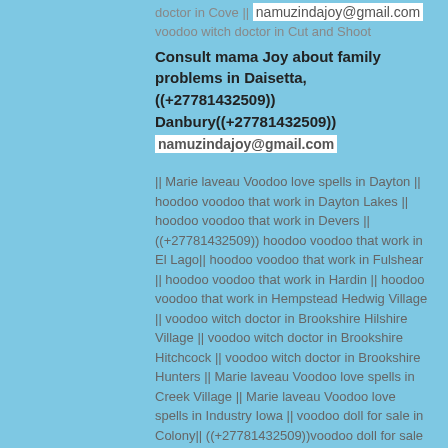doctor  in Cove || namuzindajoy@gmail.com voodoo witch doctor  in Cut and Shoot
Consult mama Joy about family problems in Daisetta, ((+27781432509)) Danbury((+27781432509)) namuzindajoy@gmail.com
|| Marie laveau Voodoo love spells in Dayton  || hoodoo voodoo that work in Dayton Lakes || hoodoo voodoo that work in Devers || ((+27781432509)) hoodoo voodoo that work in El Lago|| hoodoo voodoo that work in Fulshear || hoodoo voodoo that work in Hardin || hoodoo voodoo that work in Hempstead Hedwig Village || voodoo witch doctor  in  Brookshire Hilshire Village || voodoo witch doctor  in  Brookshire Hitchcock || voodoo witch doctor  in  Brookshire Hunters || Marie laveau Voodoo love spells in Creek Village || Marie laveau Voodoo love spells in Industry Iowa || voodoo doll for sale in Colony|| ((+27781432509))voodoo doll for sale in Jamaica Beach || voodoo doll for sale in Jersey Village || voodoo doll for sale in Kemah|| voodoo